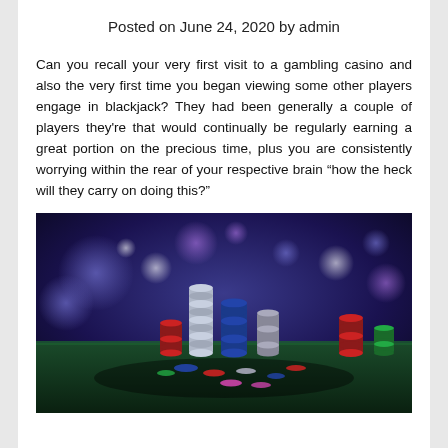Posted on June 24, 2020 by admin
Can you recall your very first visit to a gambling casino and also the very first time you began viewing some other players engage in blackjack? They had been generally a couple of players they're that would continually be regularly earning a great portion on the precious time, plus you are consistently worrying within the rear of your respective brain “how the heck will they carry on doing this?”
[Figure (photo): Stacks of casino chips of various colors (blue, red, white, green) arranged on a dark green felt surface, with a blurred blue and purple bokeh background suggesting a casino environment.]